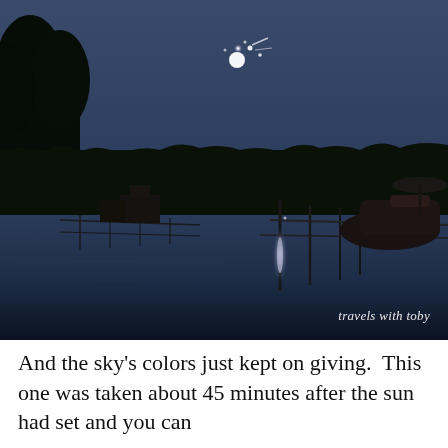[Figure (photo): Dusk/twilight photograph of a calm lake with a dock and jet skis on the right, dark silhouetted trees on the horizon, and bright moon or fireworks with glowing reflection on the water. Watermark reads 'travels with toby'.]
And the sky's colors just kept on giving.  This one was taken about 45 minutes after the sun had set and you can